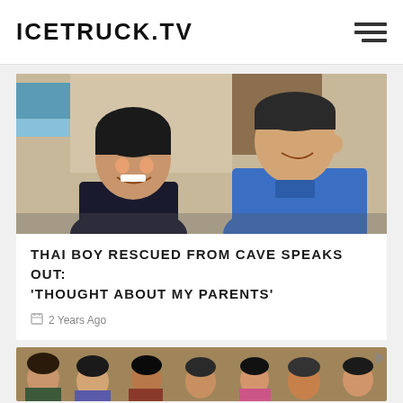ICETRUCK.TV
[Figure (photo): A smiling Thai boy in a dark shirt talking with an adult man in a blue polo shirt, indoors.]
THAI BOY RESCUED FROM CAVE SPEAKS OUT: 'THOUGHT ABOUT MY PARENTS'
2 Years Ago
[Figure (photo): Group of Thai boys and adults gathered together outdoors, partial view.]